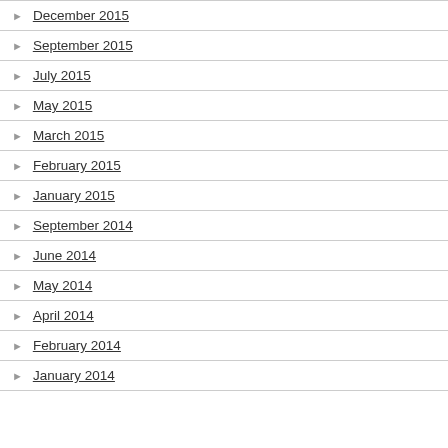December 2015
September 2015
July 2015
May 2015
March 2015
February 2015
January 2015
September 2014
June 2014
May 2014
April 2014
February 2014
January 2014